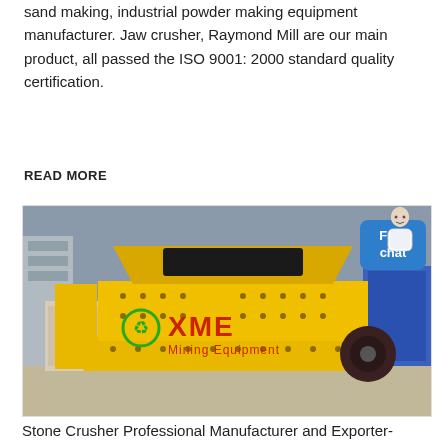sand making, industrial powder making equipment manufacturer. Jaw crusher, Raymond Mill are our main product, all passed the ISO 9001: 2000 standard quality certification.
READ MORE
[Figure (photo): Yellow XME Mining Equipment impact crusher machine in a factory setting, with a Free chat button overlay and avatar in top right corner]
Stone Crusher Professional Manufacturer and Exporter-